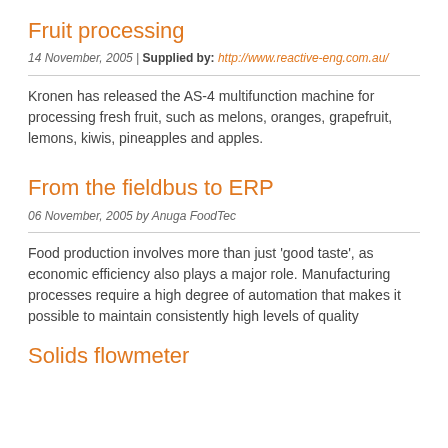Fruit processing
14 November, 2005 | Supplied by: http://www.reactive-eng.com.au/
Kronen has released the AS-4 multifunction machine for processing fresh fruit, such as melons, oranges, grapefruit, lemons, kiwis, pineapples and apples.
From the fieldbus to ERP
06 November, 2005 by Anuga FoodTec
Food production involves more than just 'good taste', as economic efficiency also plays a major role. Manufacturing processes require a high degree of automation that makes it possible to maintain consistently high levels of quality
Solids flowmeter